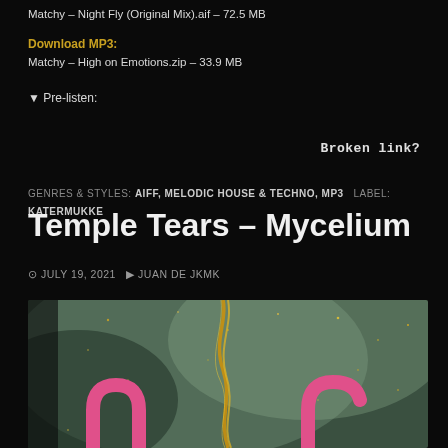Matchy – Night Fly (Original Mix).aif – 72.5 MB
Download MP3: Matchy – High on Emotions.zip – 33.9 MB
▼ Pre-listen:
Broken link?
GENRES & STYLES: AIFF, MELODIC HOUSE & TECHNO, MP3   LABEL: KATERMUKKE
Temple Tears – Mycelium
JULY 19, 2021   JUAN DE JKMK
[Figure (photo): Album artwork for Temple Tears – Mycelium showing abstract 3D pink letter forms with gold ribbon-like streaks against a muted green-grey background with golden sparkles/particles]